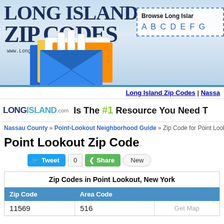[Figure (logo): Long Island Zip Codes website header logo with envelope imagery and browse navigation box]
[Figure (logo): LongIsland.com banner advertisement: Is The #1 Resource You Need T...]
Long Island Zip Codes | Nassau...
Nassau County » Point-Lookout Neighborhood Guide » Zip Code for Point Lookout, N...
Point Lookout Zip Code
[Figure (infographic): Social sharing buttons: Tweet (0), Share, New]
| Zip Code | Area Code |  |
| --- | --- | --- |
| 11569 | 516 | Get Map |